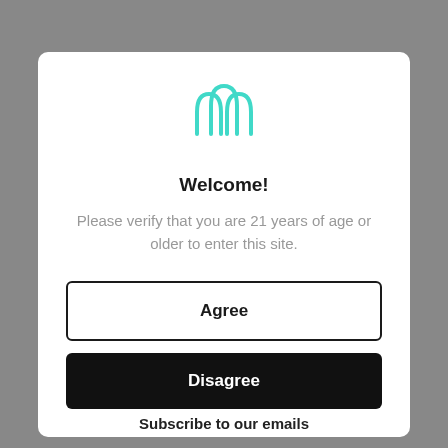[Figure (logo): Teal/cyan outline logo of stylized building arches or finger-like curves, centered at top of modal]
Welcome!
Please verify that you are 21 years of age or older to enter this site.
Agree
Disagree
Subscribe to our emails